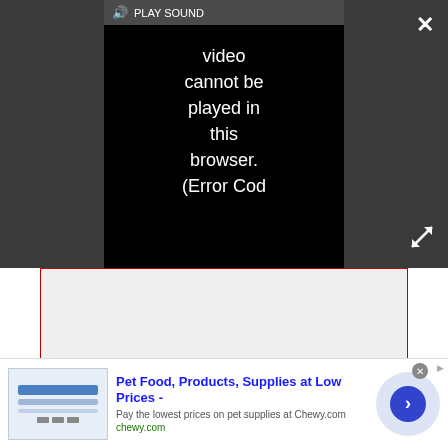[Figure (screenshot): Video player in dark gray bar showing error message: 'Video cannot be played in this browser. (Error Cod' with PLAY SOUND button and speaker icon, close X button top right, expand arrows button bottom right]
[Figure (other): Gray rectangle ad placeholder with dark red border]
(Image credit: Niantic)
Pokémon Pokédex
Pokémon Go Events
Pokémon Go Alolan Forms
Pokémon Go Shiny Forms
[Figure (screenshot): Advertisement banner for Chewy.com: Pet Food, Products, Supplies at Low Prices - Pay the lowest prices on pet supplies at Chewy.com, chewy.com, with blue image on left, close button, and circle arrow button]